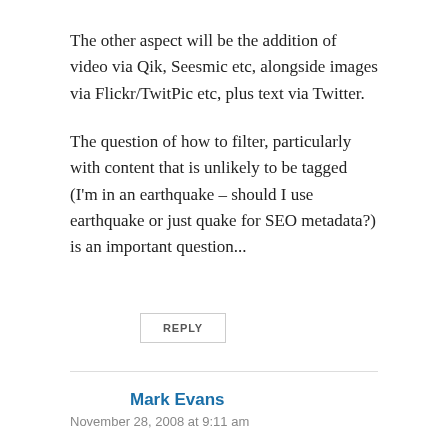The other aspect will be the addition of video via Qik, Seesmic etc, alongside images via Flickr/TwitPic etc, plus text via Twitter.
The question of how to filter, particularly with content that is unlikely to be tagged (I'm in an earthquake – should I use earthquake or just quake for SEO metadata?) is an important question...
REPLY
Mark Evans
November 28, 2008 at 9:11 am
Om,